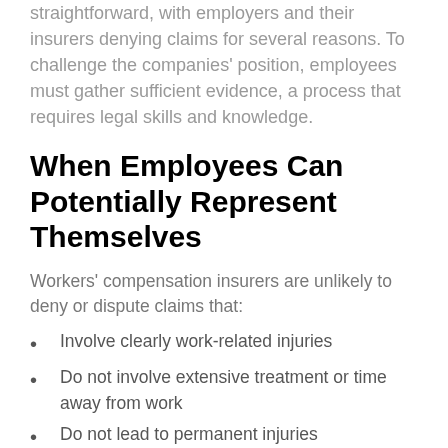straightforward, with employers and their insurers denying claims for several reasons. To challenge the companies' position, employees must gather sufficient evidence, a process that requires legal skills and knowledge.
When Employees Can Potentially Represent Themselves
Workers' compensation insurers are unlikely to deny or dispute claims that:
Involve clearly work-related injuries
Do not involve extensive treatment or time away from work
Do not lead to permanent injuries